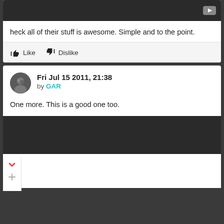[Figure (screenshot): Dark video thumbnail with YouTube play button icon in top right corner]
heck all of their stuff is awesome. Simple and to the point.
Like  Dislike
Fri Jul 15 2011, 21:38
by GAR
One more. This is a good one too.
[Figure (screenshot): Dark video thumbnail/player]